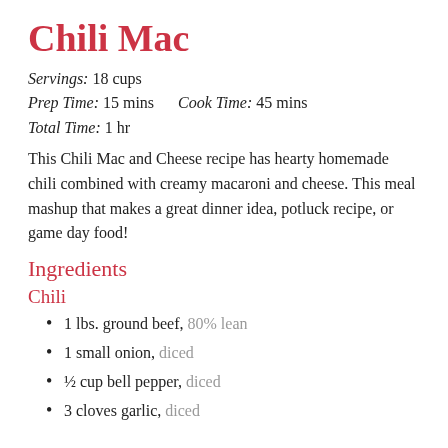Chili Mac
Servings: 18 cups
Prep Time: 15 mins    Cook Time: 45 mins
Total Time: 1 hr
This Chili Mac and Cheese recipe has hearty homemade chili combined with creamy macaroni and cheese. This meal mashup that makes a great dinner idea, potluck recipe, or game day food!
Ingredients
Chili
1 lbs. ground beef, 80% lean
1 small onion, diced
½ cup bell pepper, diced
3 cloves garlic, diced